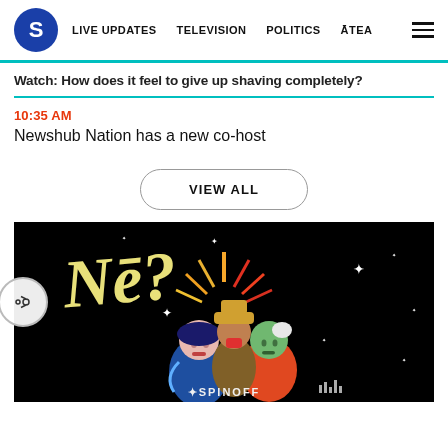S | LIVE UPDATES | TELEVISION | POLITICS | ĀTEA
Watch: How does it feel to give up shaving completely?
10:35 AM
Newshub Nation has a new co-host
VIEW ALL
[Figure (illustration): Colorful illustrated artwork on a black background showing stylized figures with a sun motif and the text 'Nē?' in decorative lettering, with a star and 'SPINOFF' text at the bottom. The image appears to be a Spinoff media logo or promotional image.]